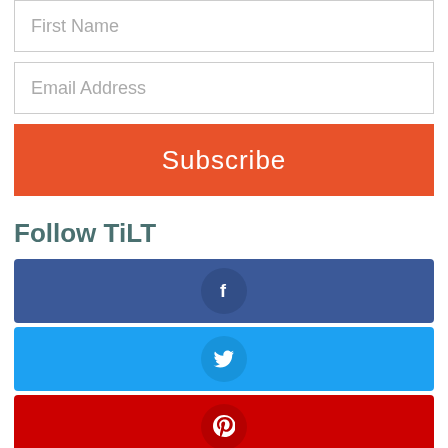[Figure (other): First Name input field (text input placeholder)]
[Figure (other): Email Address input field (text input placeholder)]
[Figure (other): Subscribe button, red/orange background]
Follow TiLT
[Figure (other): Facebook social button, dark blue background with Facebook 'f' icon in circle]
[Figure (other): Twitter social button, light blue background with Twitter bird icon in circle]
[Figure (other): Pinterest social button, red background with Pinterest 'p' icon in circle]
[Figure (other): SoundCloud social button, orange background with SoundCloud icon in circle (partially visible)]